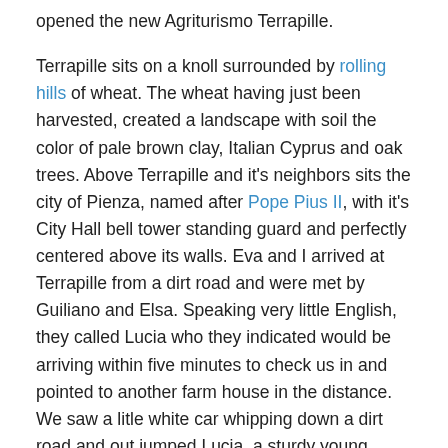opened the new Agriturismo Terrapille.

Terrapille sits on a knoll surrounded by rolling hills of wheat. The wheat having just been harvested, created a landscape with soil the color of pale brown clay, Italian Cyprus and oak trees. Above Terrapille and it's neighbors sits the city of Pienza, named after Pope Pius II, with it's City Hall bell tower standing guard and perfectly centered above its walls. Eva and I arrived at Terrapille from a dirt road and were met by Guiliano and Elsa. Speaking very little English, they called Lucia who they indicated would be arriving within five minutes to check us in and pointed to another farm house in the distance. We saw a litle white car whipping down a dirt road and out jumped Lucia, a sturdy young woman in jeans and a tishirt, dark hair wrapped into a loose bun, and a huge smile. They weren't expecting us until 4 p.m., but checked us in, showed us to